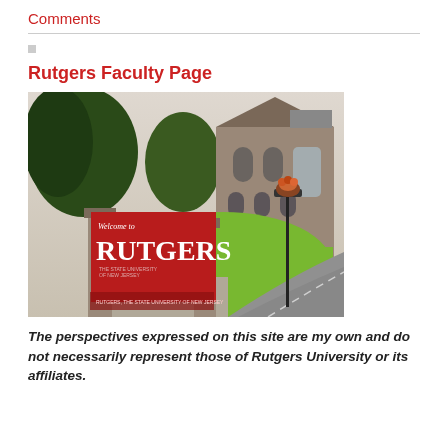Comments
Rutgers Faculty Page
[Figure (photo): Photograph of Rutgers University campus entrance with a large red Welcome to Rutgers sign, stone pillars, trees, a stone church building in the background, and a curved road.]
The perspectives expressed on this site are my own and do not necessarily represent those of Rutgers University or its affiliates.